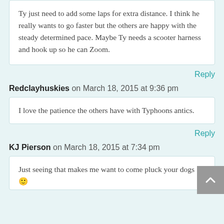Ty just need to add some laps for extra distance. I think he really wants to go faster but the others are happy with the steady determined pace. Maybe Ty needs a scooter harness and hook up so he can Zoom.
Reply
Redclayhuskies on March 18, 2015 at 9:36 pm
I love the patience the others have with Typhoons antics.
Reply
KJ Pierson on March 18, 2015 at 7:34 pm
Just seeing that makes me want to come pluck your dogs 🙂